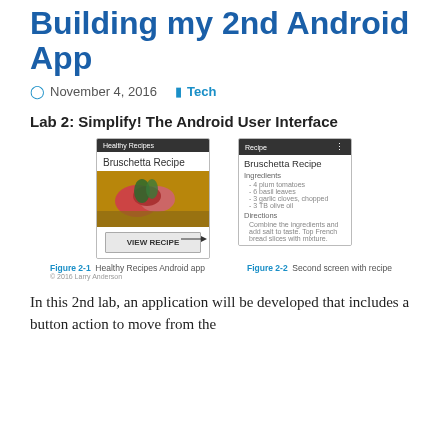Building my 2nd Android App
November 4, 2016  Tech
Lab 2: Simplify! The Android User Interface
[Figure (screenshot): Two Android app screenshots side by side. Left (Figure 2-1): Healthy Recipes app showing Bruschetta Recipe card with food photo and VIEW RECIPE button, with arrow pointing to VIEW RECIPE button label. Right (Figure 2-2): Second screen with recipe showing Bruschetta Recipe with Ingredients and Directions text.]
Figure 2-1  Healthy Recipes Android app  Figure 2-2  Second screen with recipe
In this 2nd lab, an application will be developed that includes a button action to move from the